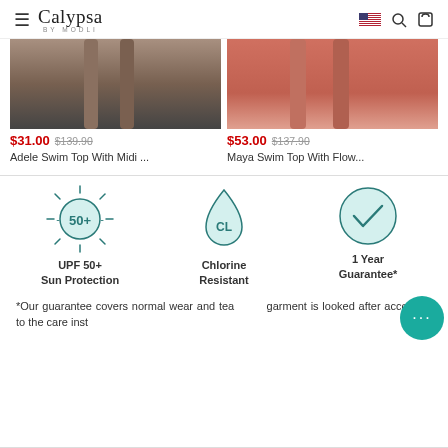Calypsa BY MODLI — Navigation header with logo, US flag, search, and cart icons
[Figure (photo): Two product photos cropped: left shows Adele Swim Top with dark shorts/legs visible; right shows Maya Swim Top in coral/red color]
$31.00 $139.90 Adele Swim Top With Midi ...
$53.00 $137.90 Maya Swim Top With Flow...
[Figure (infographic): Three feature icons: UPF 50+ Sun Protection (sun icon with circle), Chlorine Resistant (water drop with CL), 1 Year Guarantee* (circle with checkmark)]
*Our guarantee covers normal wear and tear garment is looked after according to the care inst...